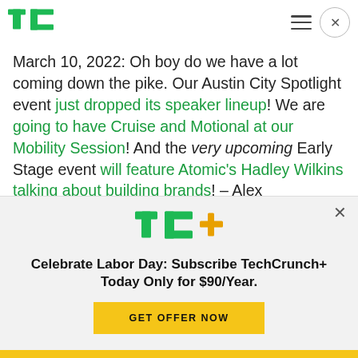TechCrunch logo, hamburger menu, close button
March 10, 2022: Oh boy do we have a lot coming down the pike. Our Austin City Spotlight event just dropped its speaker lineup! We are going to have Cruise and Motional at our Mobility Session! And the very upcoming Early Stage event will feature Atomic's Hadley Wilkins talking about building brands! – Alex
[Figure (logo): TechCrunch+ promotional banner with TC+ logo, offer text 'Celebrate Labor Day: Subscribe TechCrunch+ Today Only for $90/Year.' and a yellow GET OFFER NOW button]